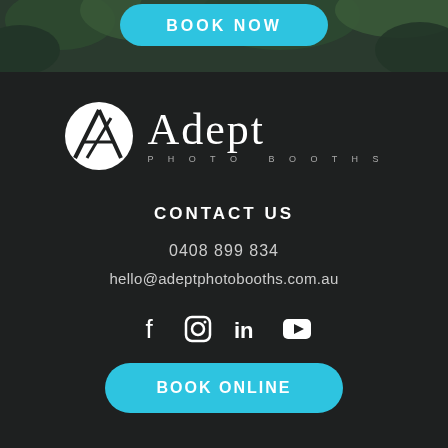[Figure (photo): Dark green foliage background with a cyan 'BOOK NOW' button partially visible at the top]
[Figure (logo): Adept Photo Booths logo: white circle with stylized A lettermark, beside large 'Adept' text and 'PHOTO BOOTHS' subtitle]
CONTACT US
0408 899 834
hello@adeptphotobooths.com.au
[Figure (other): Social media icons: Facebook, Instagram, LinkedIn, YouTube]
BOOK ONLINE
LEARN MORE